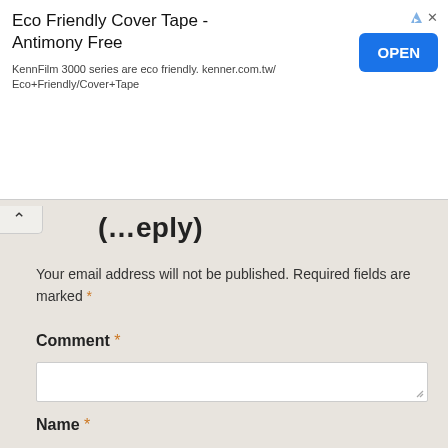[Figure (screenshot): Advertisement banner for Eco Friendly Cover Tape - Antimony Free by KennFilm, with an OPEN button]
... (Reply)
Your email address will not be published. Required fields are marked *
Comment *
[Figure (screenshot): Comment text area input box]
Name *